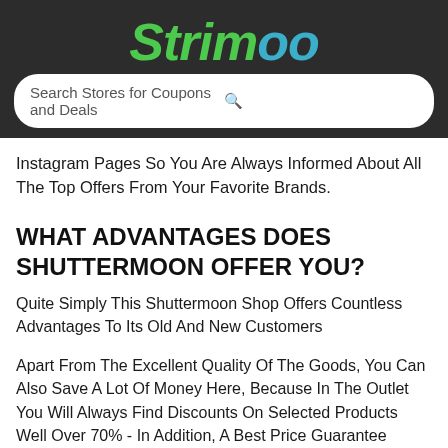Strimoo
Search Stores for Coupons and Deals
Instagram Pages So You Are Always Informed About All The Top Offers From Your Favorite Brands.
WHAT ADVANTAGES DOES Shuttermoon OFFER YOU?
Quite Simply This Shuttermoon Shop Offers Countless Advantages To Its Old And New Customers
Apart From The Excellent Quality Of The Goods, You Can Also Save A Lot Of Money Here, Because In The Outlet You Will Always Find Discounts On Selected Products Well Over 70% - In Addition, A Best Price Guarantee Applies In The Entire Website.